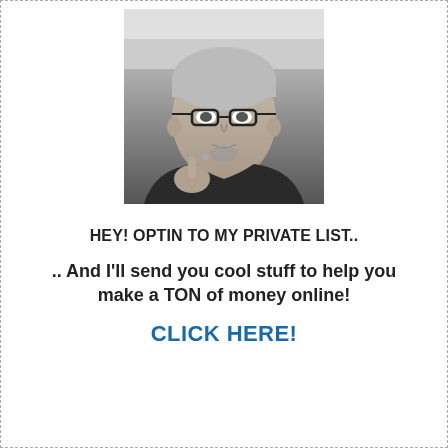[Figure (photo): Black and white photo of a man with glasses, short gray hair, wearing a dark jacket, appearing to be in an interior space such as an airplane cabin.]
HEY! OPTIN TO MY PRIVATE LIST..
.. And I'll send you cool stuff to help you make a TON of money online!
CLICK HERE!